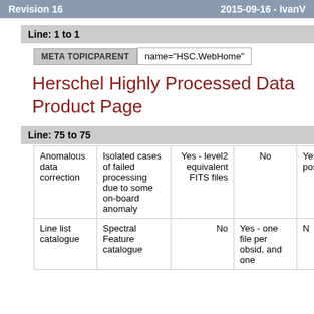Revision 16    2015-09-16 - IvanV
Line: 1 to 1
| META TOPICPARENT | name="HSC.WebHome" |
| --- | --- |
Herschel Highly Processed Data Product Page
Line: 75 to 75
| Col1 | Col2 | Col3 | Col4 | Col5 |
| --- | --- | --- | --- | --- |
| Anomalous data correction | Isolated cases of failed processing due to some on-board anomaly | Yes - level2 equivalent FITS files | No | Yes - postcard... |
| Line list catalogue | Spectral Feature catalogue | No | Yes - one file per obsid, and one | N... |